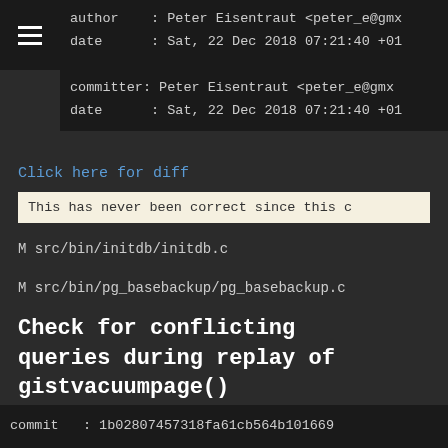author    : Peter Eisentraut <peter_e@gmx
date      : Sat, 22 Dec 2018 07:21:40 +01

committer: Peter Eisentraut <peter_e@gmx
date      : Sat, 22 Dec 2018 07:21:40 +01
Click here for diff
This has never been correct since this c
M src/bin/initdb/initdb.c
M src/bin/pg_basebackup/pg_basebackup.c
Check for conflicting queries during replay of gistvacuumpage()
commit   : 1b02807457318fa61cb564b101669